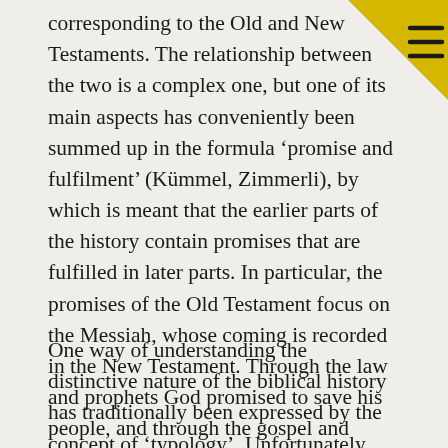[Figure (illustration): Yellow/gold triangular corner decoration in top-right corner with a hamburger menu icon (three horizontal lines)]
corresponding to the Old and New Testaments. The relationship between the two is a complex one, but one of its main aspects has conveniently been summed up in the formula ‘promise and fulfilment’ (Kümmel, Zimmerli), by which is meant that the earlier parts of the history contain promises that are fulfilled in later parts. In particular, the promises of the Old Testament focus on the Messiah, whose coming is recorded in the New Testament. Through the law and prophets God promised to save his people, and through the gospel and apostles he brought that promise to its fulfilment.
One way of understanding the distinctive nature of the biblical history has traditionally been expressed by the concept of ‘typology’. Unfortunately this